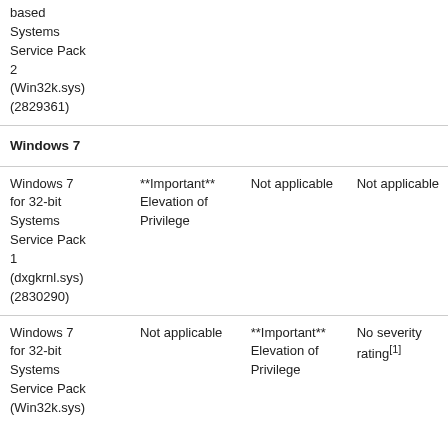| Software | Vulnerability Impact 1 | Vulnerability Impact 2 | Vulnerability Impact 3 |
| --- | --- | --- | --- |
| based Systems Service Pack 2 (Win32k.sys) (2829361) |  |  |  |
| Windows 7 |  |  |  |
| Windows 7 for 32-bit Systems Service Pack 1 (dxgkrnl.sys) (2830290) | **Important** Elevation of Privilege | Not applicable | Not applicable |
| Windows 7 for 32-bit Systems Service Pack (Win32k.sys) | Not applicable | **Important** Elevation of Privilege | No severity rating[1] |